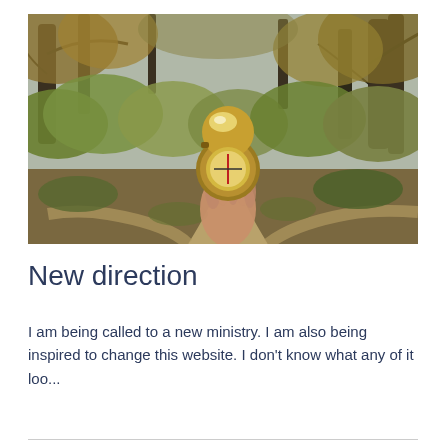[Figure (photo): A hand holding an open gold compass in the foreground, with a forked dirt path through an autumn forest of yellows and greens in the background.]
New direction
I am being called to a new ministry. I am also being inspired to change this website. I don't know what any of it loo...